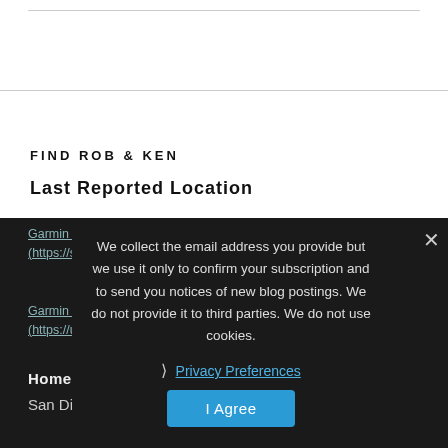FIND ROB & KEN
Last Reported Location
Garmin inReach Map for Rob (Kedeen) (https://share.garmin.com/Kedeen)
Garmin inReach Map for Ken (https://us0.share.inreach.garmin.com/Benson)
Home Base
San Diego, CA 92131
We collect the email address you provide but we use it only to confirm your subscription and to send you notices of new blog postings. We do not provide it to third parties. We do not use cookies.
Privacy Preferences
I Agree